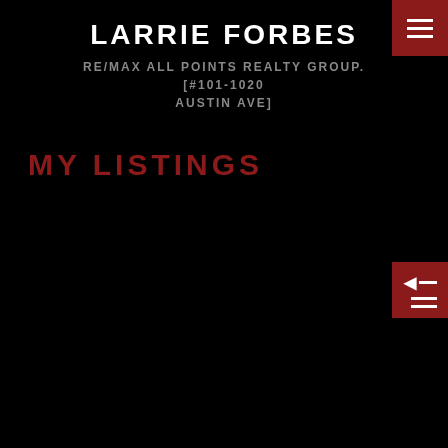LARRIE FORBES
RE/MAX ALL POINTS REALTY GROUP. [#101-1020 AUSTIN AVE]
MY LISTINGS